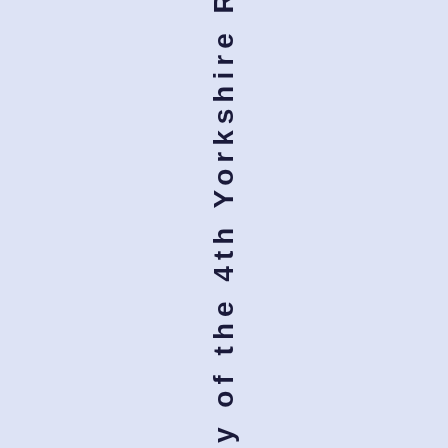y of the 4th Yorkshire Regiment, in t